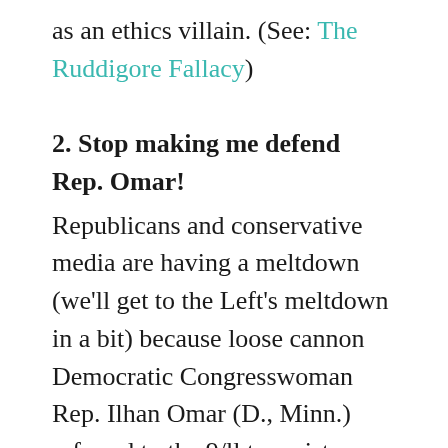as an ethics villain. (See: The Ruddigore Fallacy)
2. Stop making me defend Rep. Omar!
Republicans and conservative media are having a meltdown (we'll get to the Left's meltdown in a bit) because loose cannon Democratic Congresswoman Rep. Ilhan Omar (D., Minn.) referred to the 9/ll terrorist murders occurring because “some people did something.” This is exactly the kind of “gotcha!” President